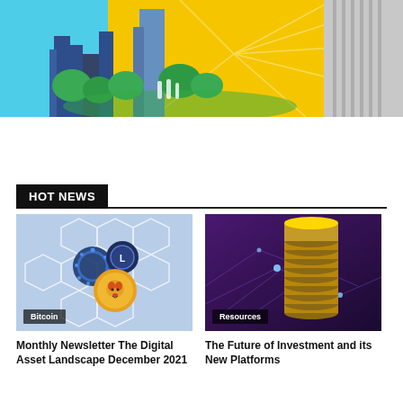[Figure (illustration): Colorful banner illustration with city skyline, green trees, and yellow sunburst background on cyan/blue sky]
HOT NEWS
[Figure (illustration): Cryptocurrency logos (Cardano, Terra Luna, Shiba Inu) on hexagonal grid background with label Bitcoin]
Monthly Newsletter The Digital Asset Landscape December 2021
[Figure (photo): Stack of gold coins with purple digital/network light trails background, labeled Resources]
The Future of Investment and its New Platforms